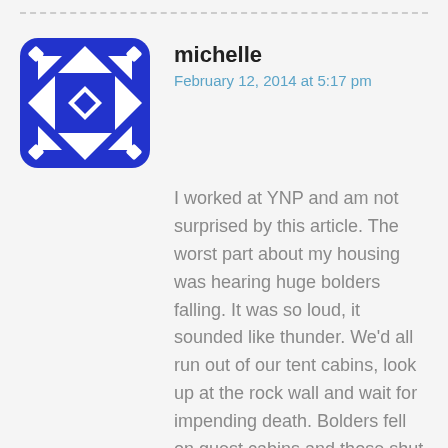[Figure (illustration): Blue and white geometric quilt-pattern avatar icon for user 'michelle']
michelle
February 12, 2014 at 5:17 pm
I worked at YNP and am not surprised by this article. The worst part about my housing was hearing huge bolders falling. It was so loud, it sounded like thunder. We'd all run out of our tent cabins, look up at the rock wall and wait for impending death. Bolders fell on guest cabins and those shut down. They never cared if the employees were hurt. Also, the extreme drug use